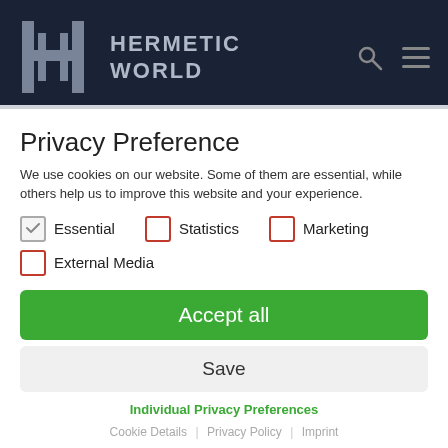[Figure (logo): Hermetic World logo with HH monogram and text on dark navy background with search and menu icons]
Privacy Preference
We use cookies on our website. Some of them are essential, while others help us to improve this website and your experience.
Essential (checked)
Statistics (unchecked)
Marketing (unchecked)
External Media (unchecked)
Accept all
Save
Individual Privacy Preferences
Cookie Details | Privacy Policy | Imprint